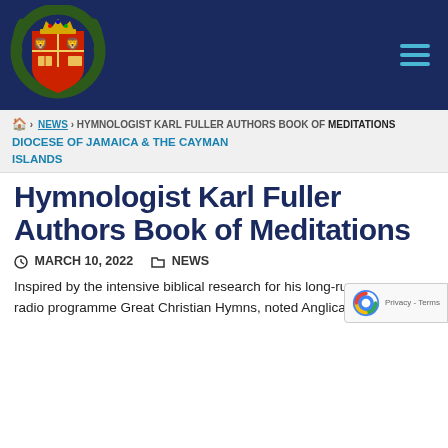[Figure (logo): Church of Jamaica coat of arms crest on dark navy header bar with hamburger menu icon]
DIOCESE OF JAMAICA & THE CAYMAN ISLANDS
🏠 > NEWS > HYMNOLOGIST KARL FULLER AUTHORS BOOK OF MEDITATIONS
Hymnologist Karl Fuller Authors Book of Meditations
MARCH 10, 2022   NEWS
Inspired by the intensive biblical research for his long-running radio programme Great Christian Hymns, noted Anglican